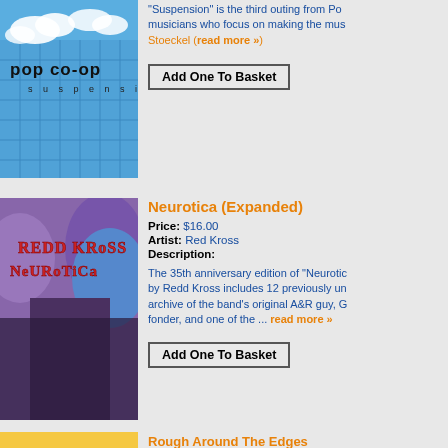[Figure (illustration): Pop Co-op Suspension album cover — blue sky with clouds, glass building grid, black bold text 'pop co-op' and 'suspension']
"Suspension" is the third outing from Po musicians who focus on making the mus Stoeckel (read more »)
Add One To Basket
[Figure (photo): Redd Kross Neurotica album cover — stylized cartoon faces with band members, red graffiti-style title text 'REDD KRoSS NeURoTiCa']
Neurotica (Expanded)
Price: $16.00
Artist: Red Kross
Description:
The 35th anniversary edition of "Neurotic by Redd Kross includes 12 previously un archive of the band's original A&R guy, G fonder, and one of the ... read more »
Add One To Basket
[Figure (photo): Partial album cover with yellow/gold background, partially visible]
Rough Around The Edges